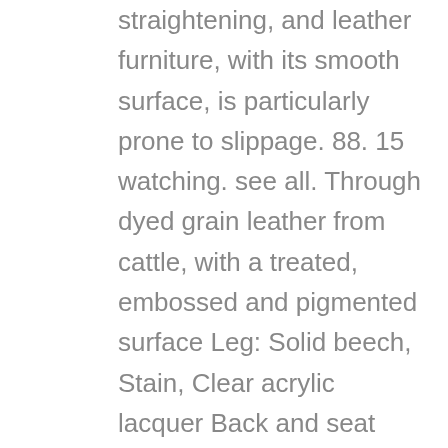straightening, and leather furniture, with its smooth surface, is particularly prone to slippage. 88. 15 watching. see all. Through dyed grain leather from cattle, with a treated, embossed and pigmented surface Leg: Solid beech, Stain, Clear acrylic lacquer Back and seat frame: Moulded layers of fibreboard Seat: Highly resilient polyurethane foam (cold foam) 35 kg/cu.m., Polyester wadding Back: Polyurethane foam 23 kg/cu.m. See similar items. In this video I assemble a HENRIKSDAL IKEA chair.Thanks for watching.